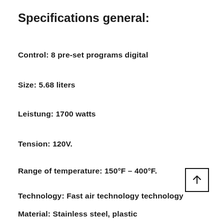Specifications general:
Control: 8 pre-set programs digital
Size: 5.68 liters
Leistung: 1700 watts
Tension: 120V.
Range of temperature: 150°F – 400°F.
Technology: Fast air technology technology
Material: Stainless steel, plastic